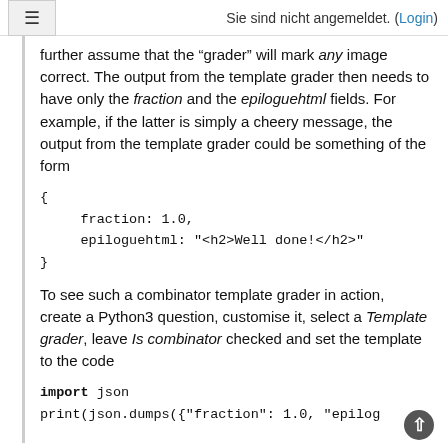≡  Sie sind nicht angemeldet. (Login)
further assume that the "grader" will mark any image correct. The output from the template grader then needs to have only the fraction and the epiloguehtml fields. For example, if the latter is simply a cheery message, the output from the template grader could be something of the form
{
     fraction: 1.0,
     epiloguehtml: "<h2>Well done!</h2>"
}
To see such a combinator template grader in action, create a Python3 question, customise it, select a Template grader, leave Is combinator checked and set the template to the code
import json
print(json.dumps({"fraction": 1.0, "epilog